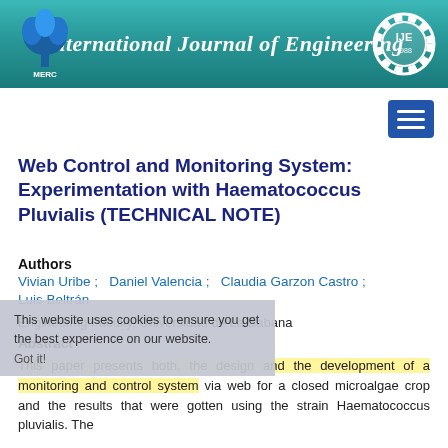International Journal of Engineering
Web Control and Monitoring System: Experimentation with Haematococcus Pluvialis (TECHNICAL NOTE)
Authors
Vivian Uribe ; Daniel Valencia ; Claudia Garzon Castro ; Luis Beltrán
Engineering Faculty, Universidad de La Sabana
Abstract
This paper presents both, the design and the development of a monitoring and control system via web for a closed microalgae crop and the results that were gotten using the strain Haematococcus pluvialis. The